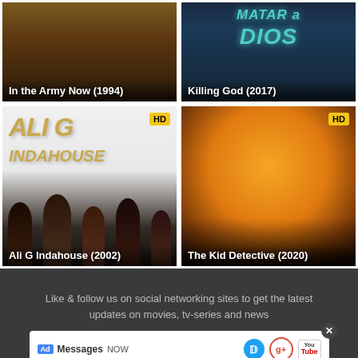[Figure (photo): Movie poster for In the Army Now (1994) — dark brown tones with figure on top]
In the Army Now (1994)
[Figure (photo): Movie poster for Killing God (2017) — dark blue tones with teal text reading MATAR a DIOS]
Killing God (2017)
[Figure (photo): Movie poster for Ali G Indahouse (2002) — white background with gold Ali G Indahouse title text, HD badge, group of people at bottom]
Ali G Indahouse (2002)
[Figure (photo): Movie poster for The Kid Detective (2020) — orange/yellow circular background with man in foreground, HD badge]
The Kid Detective (2020)
Like & follow us on social networking sites to get the latest updates on movies, tv-series and news
[Figure (infographic): Ad bar with Messages label, Twitter bird icon, Google+ icon, YouTube icon, and close X button]